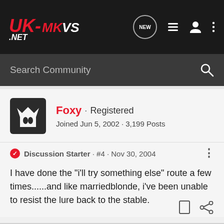UK-MKVS.NET
Search Community
Foxy · Registered
Joined Jun 5, 2002 · 3,199 Posts
Discussion Starter · #4 · Nov 30, 2004
I have done the "i'll try something else" route a few times......and like marriedblonde, i've been unable to resist the lure back to the stable.